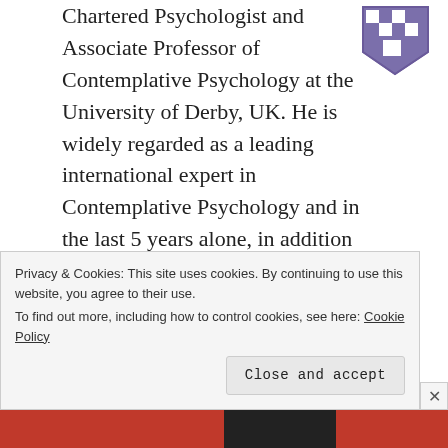Chartered Psychologist and Associate Professor of Contemplative Psychology at the University of Derby, UK. He is widely regarded as a leading international expert in Contemplative Psychology and in the last 5 years alone, in addition to three books William has published over 100 academic papers, including in some of the world's leading psychology and
[Figure (logo): University crest / shield logo in purple and white, checkered shield design]
Privacy & Cookies: This site uses cookies. By continuing to use this website, you agree to their use.
To find out more, including how to control cookies, see here: Cookie Policy